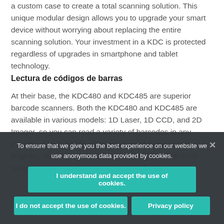a custom case to create a total scanning solution. This unique modular design allows you to upgrade your smart device without worrying about replacing the entire scanning solution. Your investment in a KDC is protected regardless of upgrades in smartphone and tablet technology.
Lectura de códigos de barras
At their base, the KDC480 and KDC485 are superior barcode scanners. Both the KDC480 and KDC485 are available in various models: 1D Laser, 1D CCD, and 2D Imager, so you can read a variety of barcodes in any industry. The KDC485 offers downward angled scan engines, allowing you to hold your device at level while scanning barcodes at a lower height. The KDC...
To ensure that we give you the best experience on our website we use anonymous data provided by cookies.
I understand and accept the use of cookies.
I do not accept the use of cookies.
Privacy policy